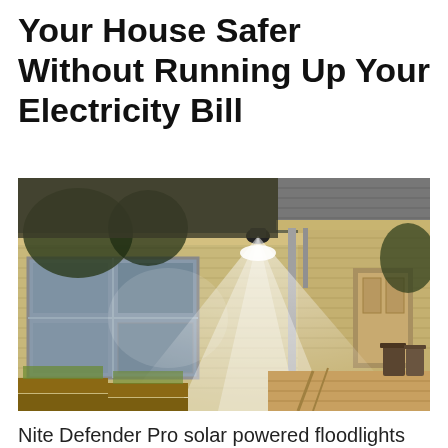Your House Safer Without Running Up Your Electricity Bill
[Figure (photo): Photo of the exterior of a house at night with a solar-powered floodlight mounted on the eave, casting a bright white beam of light down onto the siding, windows, and front porch/deck area.]
Nite Defender Pro solar powered floodlights are the perfect solution for